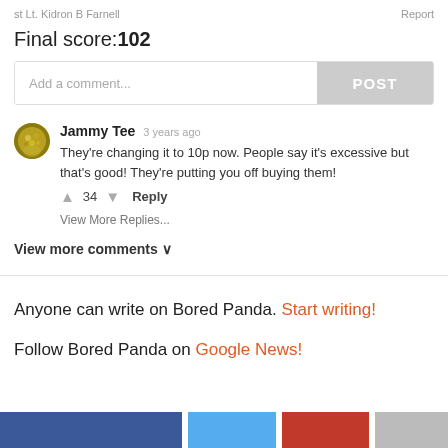st Lt. Kidron B Farnell    Report
Final score:102
Add a comment...   POST
Jammy Tee  3 years ago
They're changing it to 10p now. People say it's excessive but that's good! They're putting you off buying them!
↑ 34 ↓  Reply
View More Replies...
View more comments ∨
Anyone can write on Bored Panda. Start writing!
Follow Bored Panda on Google News!